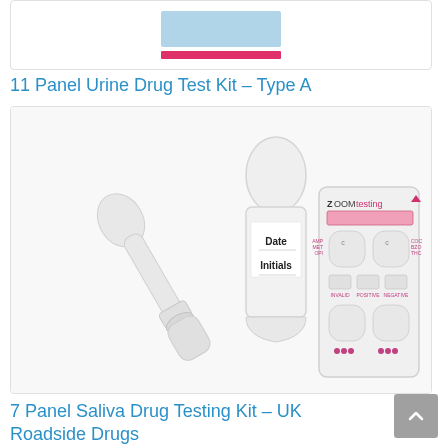[Figure (photo): Partial view of an 11 Panel Urine Drug Test Kit device showing a blue rectangle and pink bar at the bottom, inside a bordered card.]
11 Panel Urine Drug Test Kit – Type A
[Figure (photo): 7 Panel Saliva Drug Testing Kit showing a white saliva swab collector with Date and Initials label, and a ZOOM testing multi-panel test card, inside a bordered card.]
7 Panel Saliva Drug Testing Kit – UK Roadside Drugs